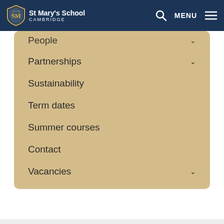[Figure (screenshot): St Mary's School Cambridge website navigation header with logo, search icon, and MENU button]
People ▾
Partnerships ▾
Sustainability
Term dates
Summer courses
Contact
Vacancies ▾
[Figure (logo): High Performance Learning - World Class School logo]
[Figure (logo): GSA Girls' Schools Association logo]